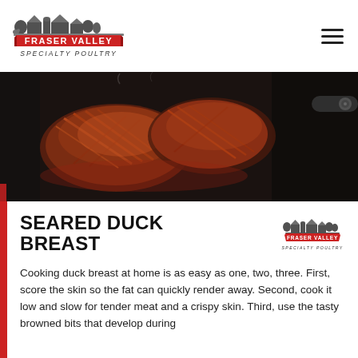[Figure (logo): Fraser Valley Specialty Poultry logo — farm illustration with red banner reading FRASER VALLEY and SPECIALTY POULTRY below]
[Figure (photo): Overhead close-up of seared duck breasts with scored skin browning in a cast iron skillet, dramatic dark background]
SEARED DUCK BREAST
[Figure (logo): Fraser Valley Specialty Poultry small logo (same as header logo)]
Cooking duck breast at home is as easy as one, two, three. First, score the skin so the fat can quickly render away. Second, cook it low and slow for tender meat and a crispy skin. Third, use the tasty browned bits that develop during